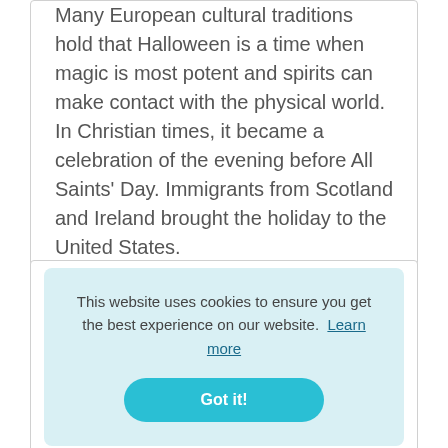Many European cultural traditions hold that Halloween is a time when magic is most potent and spirits can make contact with the physical world. In Christian times, it became a celebration of the evening before All Saints' Day. Immigrants from Scotland and Ireland brought the holiday to the United States.
Why is Halloween celebrated for
Scotland called Samhain. Samhain marked
This website uses cookies to ensure you get the best experience on our website.  Learn more
Got it!